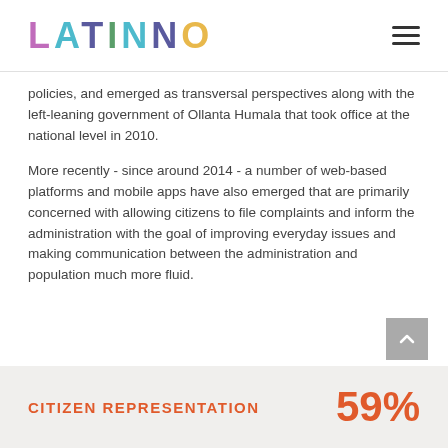LATINNO
policies, and emerged as transversal perspectives along with the left-leaning government of Ollanta Humala that took office at the national level in 2010.
More recently - since around 2014 - a number of web-based platforms and mobile apps have also emerged that are primarily concerned with allowing citizens to file complaints and inform the administration with the goal of improving everyday issues and making communication between the administration and population much more fluid.
CITIZEN REPRESENTATION  59%